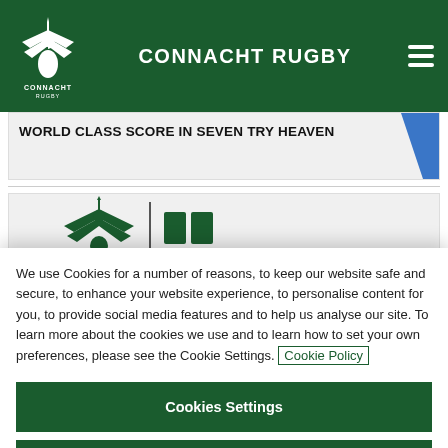CONNACHT RUGBY
WORLD CLASS SCORE IN SEVEN TRY HEAVEN
[Figure (logo): Connacht Rugby logo (eagle/bird emblem) in green, partially visible]
We use Cookies for a number of reasons, to keep our website safe and secure, to enhance your website experience, to personalise content for you, to provide social media features and to help us analyse our site. To learn more about the cookies we use and to learn how to set your own preferences, please see the Cookie Settings. Cookie Policy
Cookies Settings
Reject All Cookies